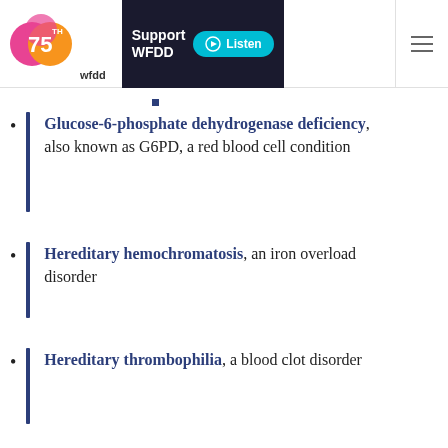WFDD 75th | Support WFDD | Listen
Glucose-6-phosphate dehydrogenase deficiency, also known as G6PD, a red blood cell condition
Hereditary hemochromatosis, an iron overload disorder
Hereditary thrombophilia, a blood clot disorder